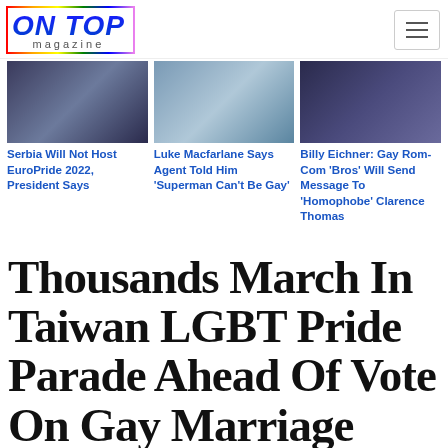ON TOP magazine
[Figure (photo): Photo of a man with glasses smiling, dark background]
Serbia Will Not Host EuroPride 2022, President Says
[Figure (photo): Two men standing together outdoors near water, wearing casual clothes]
Luke Macfarlane Says Agent Told Him 'Superman Can't Be Gay'
[Figure (photo): Man on stage speaking to a large audience, dark venue]
Billy Eichner: Gay Rom-Com 'Bros' Will Send Message To 'Homophobe' Clarence Thomas
Thousands March In Taiwan LGBT Pride Parade Ahead Of Vote On Gay Marriage